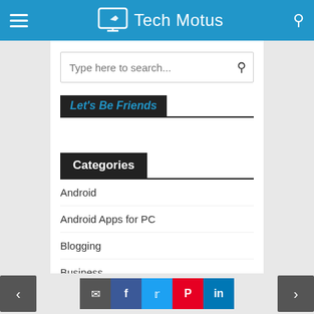Tech Motus
Type here to search...
Let's Be Friends
Categories
Android
Android Apps for PC
Blogging
Business
Computer Tips
< [comment] [facebook] [twitter] [pinterest] [linkedin] >